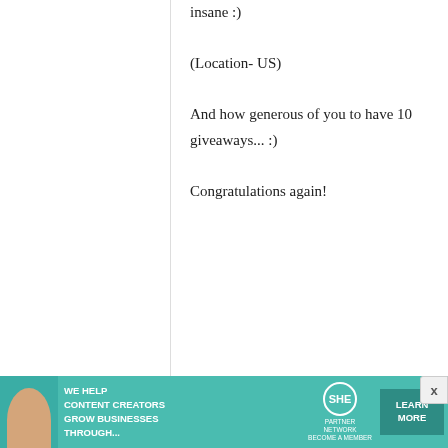insane :)

(Location- US)

And how generous of you to have 10 giveaways... :)

Congratulations again!
Kathleen
1 December, 2008 - 16:19
permalink
Happy Blog B-day! Your
Happy Blog B-day!
[Figure (infographic): Advertisement banner: teal background with woman holding laptop, text WE HELP CONTENT CREATORS GROW BUSINESSES THROUGH..., SHE media partner network logo, and LEARN MORE button]